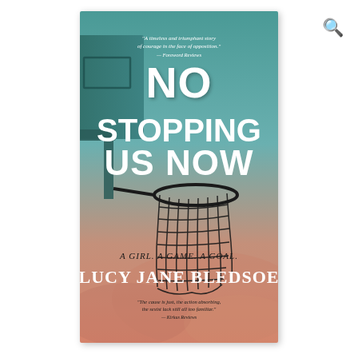[Figure (illustration): Book cover of 'No Stopping Us Now' by Lucy Jane Bledsoe. Background is a sky gradient from teal/green at top to warm peach/pink at bottom. A basketball hoop and backboard silhouette is on the left side. Large white hand-lettered text reads 'NO STOPPING US NOW'. Subtitle 'A GIRL. A GAME. A GOAL.' in dark text. Author name 'LUCY JANE BLEDSOE' in large white serif caps. Top quote: 'A timeless and triumphant story of courage in the face of opposition.' — Foreword Reviews. Bottom quote: 'The cause is just, the action absorbing, the sexist lack still all too familiar.' — Kirkus Reviews.]